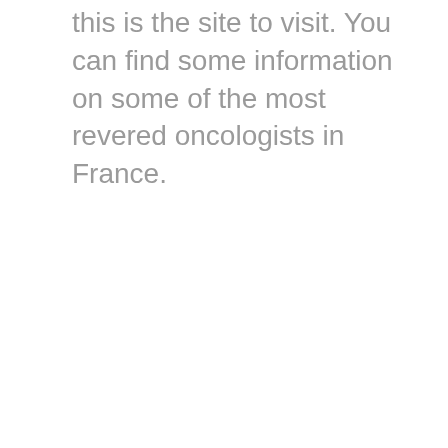this is the site to visit. You can find some information on some of the most revered oncologists in France.